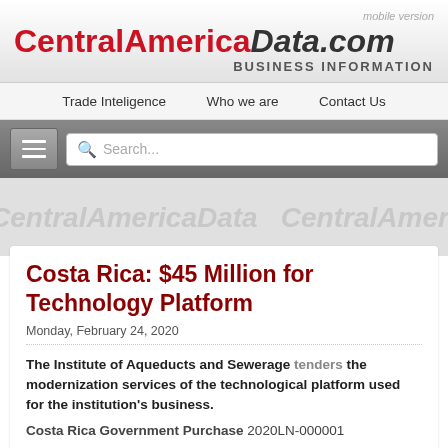mobile version
CentralAmericaData.com BUSINESS INFORMATION
Trade Inteligence  Who we are  Contact Us
Costa Rica: $45 Million for Technology Platform
Monday, February 24, 2020
The Institute of Aqueducts and Sewerage tenders the modernization services of the technological platform used for the institution's business.
Costa Rica Government Purchase 2020LN-000001